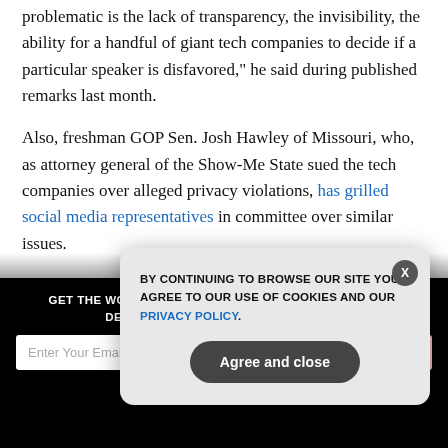problematic is the lack of transparency, the invisibility, the ability for a handful of giant tech companies to decide if a particular speaker is disfavored," he said during published remarks last month.
Also, freshman GOP Sen. Josh Hawley of Missouri, who, as attorney general of the Show-Me State sued the tech companies over alleged privacy violations, has grilled social media representatives in committee over similar issues.
Of course, representatives from the tech giants have all...
[Figure (screenshot): Dark overlay with newsletter signup bar at bottom. Contains title 'GET THE WORLD'S BEST NATURAL HEALTH NEWSLETTER DELIVERED STRAIGHT TO YOUR INBOX', an email input field, a SUBSCRIBE button, and a close X icon.]
[Figure (screenshot): Cookie consent modal overlay with rounded corners. Text reads: 'BY CONTINUING TO BROWSE OUR SITE YOU AGREE TO OUR USE OF COOKIES AND OUR PRIVACY POLICY.' with an X close button and 'Agree and close' button.]